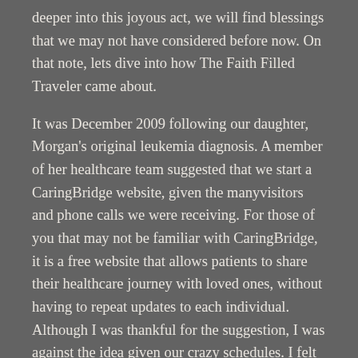deeper into this joyous act, we will find blessings that we may not have considered before now. On that note, lets dive into how The Faith Filled Traveler came about.

It was December 2009 following our daughter, Morgan's original leukemia diagnosis. A member of her healthcare team suggested that we start a CaringBridge website, given the manyvisitors and phone calls we were receiving. For those of you that may not be familiar with CaringBridge, it is a free website that allows patients to share their healthcare journey with loved ones, without having to repeat updates to each individual. Although I was thankful for the suggestion, I was against the idea given our crazy schedules. I felt sure that it would consume more time than any of us had to give. That said, against my wishes, John & Morgan created the site. Before long, Morgan was blogging about her journey daily with a dedicated following. It was something she looked forward to doing each day that